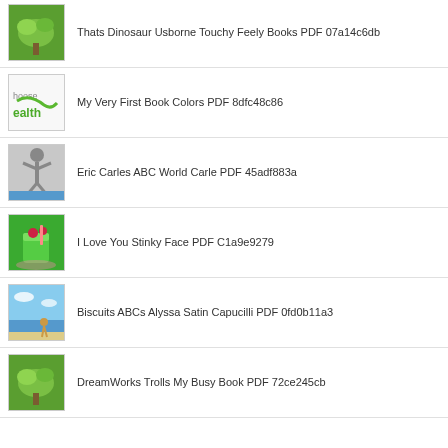Thats Dinosaur Usborne Touchy Feely Books PDF 07a14c6db
My Very First Book Colors PDF 8dfc48c86
Eric Carles ABC World Carle PDF 45adf883a
I Love You Stinky Face PDF C1a9e9279
Biscuits ABCs Alyssa Satin Capucilli PDF 0fd0b11a3
DreamWorks Trolls My Busy Book PDF 72ce245cb